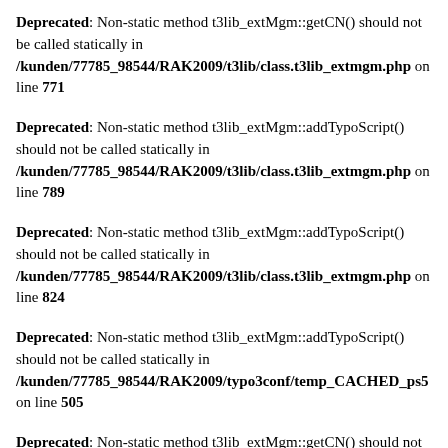Deprecated: Non-static method t3lib_extMgm::getCN() should not be called statically in /kunden/77785_98544/RAK2009/t3lib/class.t3lib_extmgm.php on line 771
Deprecated: Non-static method t3lib_extMgm::addTypoScript() should not be called statically in /kunden/77785_98544/RAK2009/t3lib/class.t3lib_extmgm.php on line 789
Deprecated: Non-static method t3lib_extMgm::addTypoScript() should not be called statically in /kunden/77785_98544/RAK2009/t3lib/class.t3lib_extmgm.php on line 824
Deprecated: Non-static method t3lib_extMgm::addTypoScript() should not be called statically in /kunden/77785_98544/RAK2009/typo3conf/temp_CACHED_ps5 on line 505
Deprecated: Non-static method t3lib_extMgm::getCN() should not be called statically in /kunden/77785_98544/RAK2009/typo3conf/temp_CACHED_ps5 on line 506